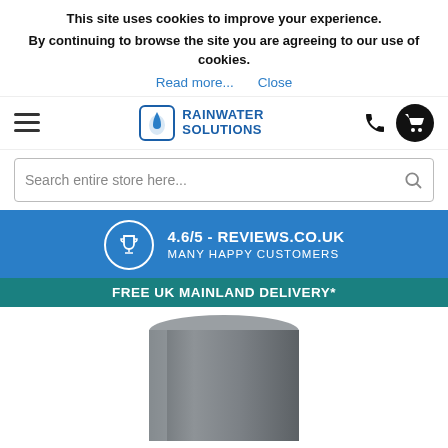This site uses cookies to improve your experience. By continuing to browse the site you are agreeing to our use of cookies.
Read more...   Close
[Figure (logo): Rainwater Solutions logo with water droplet icon and blue text]
Search entire store here...
4.6/5 - REVIEWS.CO.UK MANY HAPPY CUSTOMERS
FREE UK MAINLAND DELIVERY*
[Figure (photo): Grey cylindrical pipe or fitting, partially cropped at bottom of page]